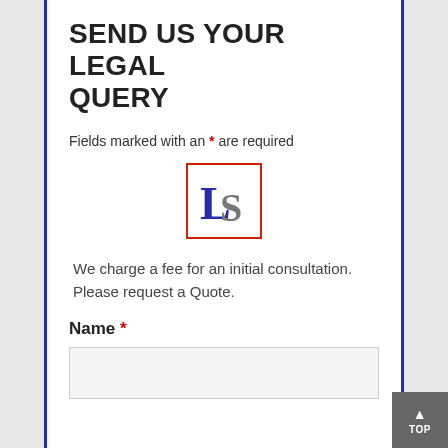SEND US YOUR LEGAL QUERY
Fields marked with an * are required
[Figure (logo): LS logo in serif font with a blue capital L and grey S, enclosed in a red-bordered square box]
We charge a fee for an initial consultation. Please request a Quote.
Name *